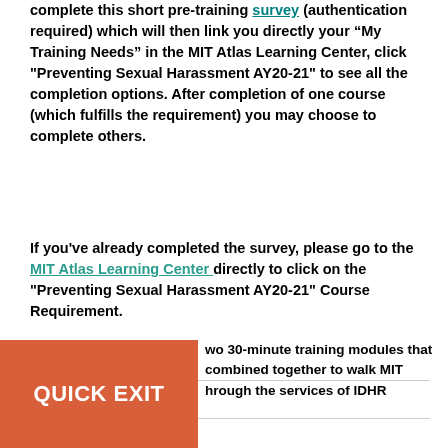complete this short pre-training survey (authentication required) which will then link you directly your “My Training Needs” in the MIT Atlas Learning Center, click "Preventing Sexual Harassment AY20-21" to see all the completion options. After completion of one course (which fulfills the requirement) you may choose to complete others.
If you've already completed the survey, please go to the MIT Atlas Learning Center directly to click on the "Preventing Sexual Harassment AY20-21" Course Requirement.
wo 30-minute training modules that combined together to walk MIT hrough the services of IDHR